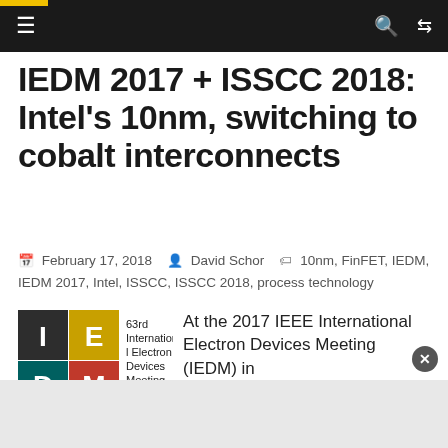IEDM 2017 + ISSCC 2018: Intel's 10nm, switching to cobalt interconnects
IEDM 2017 + ISSCC 2018: Intel's 10nm, switching to cobalt interconnects
February 17, 2018   David Schor   10nm, FinFET, IEDM, IEDM 2017, Intel, ISSCC, ISSCC 2018, process technology
At the 2017 IEEE International Electron Devices Meeting (IEDM) in San Francisco, Intel formally detailed its 10-meter process technology. This leading-edge
[Figure (logo): IEDM logo — 63rd International Electron Devices Meeting, color block squares with letters I, E, D, M]